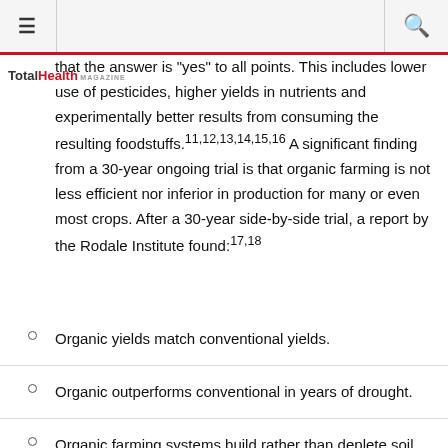≡  [search icon]
that the answer is "yes" to all points. This includes lower use of pesticides, higher yields in nutrients and experimentally better results from consuming the resulting foodstuffs.11,12,13,14,15,16 A significant finding from a 30-year ongoing trial is that organic farming is not less efficient nor inferior in production for many or even most crops. After a 30-year side-by-side trial, a report by the Rodale Institute found:17,18
Organic yields match conventional yields.
Organic outperforms conventional in years of drought.
Organic farming systems build rather than deplete soil organic matter, making it a more sustainable system.